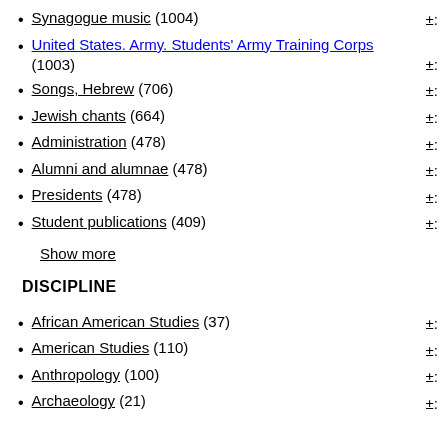Synagogue music (1004)
United States. Army. Students' Army Training Corps (1003)
Songs, Hebrew (706)
Jewish chants (664)
Administration (478)
Alumni and alumnae (478)
Presidents (478)
Student publications (409)
Show more
DISCIPLINE
African American Studies (37)
American Studies (110)
Anthropology (100)
Archaeology (21)